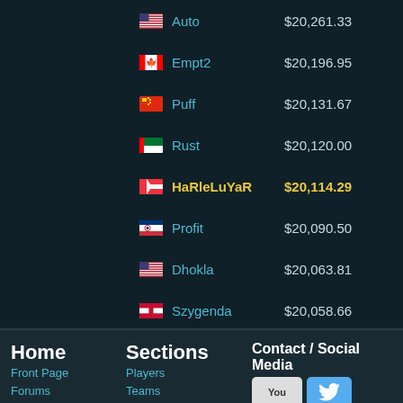| Flag | Player | Amount |
| --- | --- | --- |
| US | Auto | $20,261.33 |
| CA | Empt2 | $20,196.95 |
| CN | Puff | $20,131.67 |
| AE | Rust | $20,120.00 |
| SG | HaRleLuYaR | $20,114.29 |
| KR | Profit | $20,090.50 |
| US | Dhokla | $20,063.81 |
| DK | Szygenda | $20,058.66 |
| KR | Willer | $20,025.00 |
| KR | FeniX | $20,014.89 |
| BR | LEP | $20,003.56 |
| AR | Genthix | $20,001.41 |
| TN | Garâ | $20,000.00 |
| TN | Jinzu | $20,000.00 |
| CN | LoveCD | $19,799.67 |
Home | Front Page | Forums | Sections | Players | Teams | Contact / Social Media